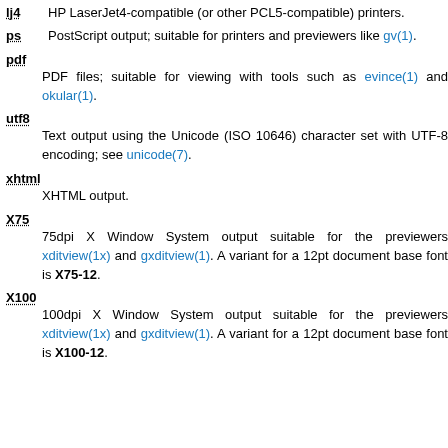lj4 HP LaserJet4-compatible (or other PCL5-compatible) printers.
ps PostScript output; suitable for printers and previewers like gv(1).
pdf PDF files; suitable for viewing with tools such as evince(1) and okular(1).
utf8 Text output using the Unicode (ISO 10646) character set with UTF-8 encoding; see unicode(7).
xhtml XHTML output.
X75 75dpi X Window System output suitable for the previewers xditview(1x) and gxditview(1). A variant for a 12pt document base font is X75-12.
X100 100dpi X Window System output suitable for the previewers xditview(1x) and gxditview(1). A variant for a 12pt document base font is X100-12.